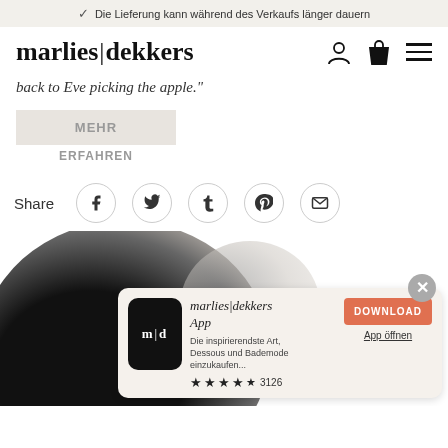Die Lieferung kann während des Verkaufs länger dauern
[Figure (logo): marlies|dekkers brand logo with navigation icons (user, bag, hamburger menu)]
back to Eve picking the apple."
MEHR ERFAHREN
Share
[Figure (screenshot): Bottom section showing dark circular background image with marlies|dekkers App download popup overlay. Popup shows app icon with m|d logo, app title 'marlies|dekkers App', description 'Die inspirierendste Art, Dessous und Bademode einzukaufen...', star rating 4.5 with 3126 reviews, DOWNLOAD button and App öffnen link.]